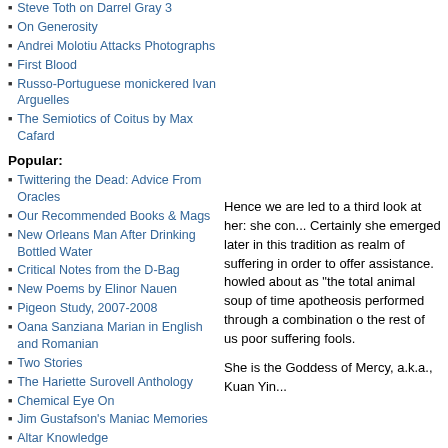Steve Toth on Darrel Gray 3
On Generosity
Andrei Molotiu Attacks Photographs
First Blood
Russo-Portuguese monickered Ivan Arguelles
The Semiotics of Coitus by Max Cafard
Popular:
Twittering the Dead: Advice From Oracles
Our Recommended Books & Mags
New Orleans Man After Drinking Bottled Water
Critical Notes from the D-Bag
New Poems by Elinor Nauen
Pigeon Study, 2007-2008
Oana Sanziana Marian in English and Romanian
Two Stories
The Hariette Surovell Anthology
Chemical Eye On
Jim Gustafson's Maniac Memories
Altar Knowledge
Hence we are led to a third look at her: she con... Certainly she emerged later in this tradition as realm of suffering in order to offer assistance. howled about as "the total animal soup of time apotheosis performed through a combination o the rest of us poor suffering fools.
She is the Goddess of Mercy, a.k.a., Kuan Yin...